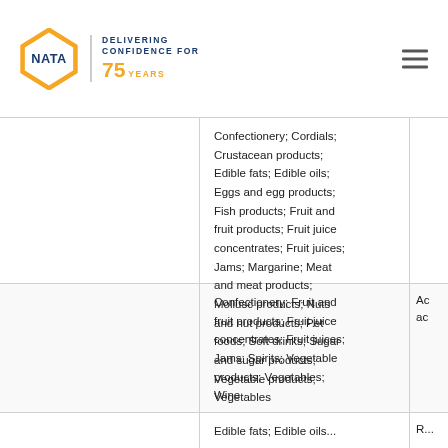NATA — DELIVERING CONFIDENCE FOR 75 YEARS
|  | Products/Matrices |  |
| --- | --- | --- |
|  | Confectionery; Cordials; Crustacean products; Edible fats; Edible oils; Eggs and egg products; Fish products; Fruit and fruit products; Fruit juice concentrates; Fruit juices; Jams; Margarine; Meat and meat products; Mollusc products; Nuts and nut products; Pet foods; Soft drinks; Sugar and sugar products; Vegetable products; Vegetables |  |
|  | Confectionery; Fruit and fruit products; Fruit juice concentrates; Fruit juices; Jams; Spirits; Vegetable products; Vegetables; Wine | Ac ac |
|  | Edible fats; Edible oils... | R... |